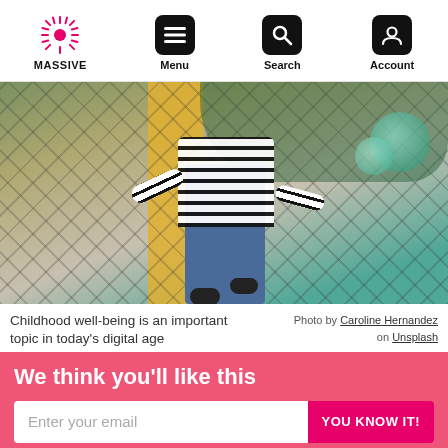MASSIVE | Menu | Search | Account
[Figure (photo): Child jumping on a trampoline or bouncing near a chain-link fence with a yellow pillar, wearing a striped shirt and jeans]
Childhood well-being is an important topic in today’s digital age
Photo by Caroline Hernandez on Unsplash
We think you’ll like this
Enter your email | YOU KNOW IT!
Keep your mind sharp with the smartest science around. Get new stories about the science behind brains and mental health delivered right to you.
× Not Interested
✓ Already Subscribed